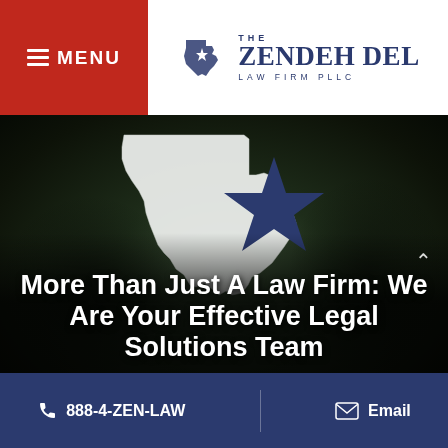MENU | THE ZENDEH DEL LAW FIRM PLLC
[Figure (illustration): Hero banner with Texas state outline (white silhouette) and a large dark blue star, overlaid on a dark forest aerial background. Text overlay reads: More Than Just A Law Firm: We Are Your Effective Legal Solutions Team]
More Than Just A Law Firm: We Are Your Effective Legal Solutions Team
888-4-ZEN-LAW   Email